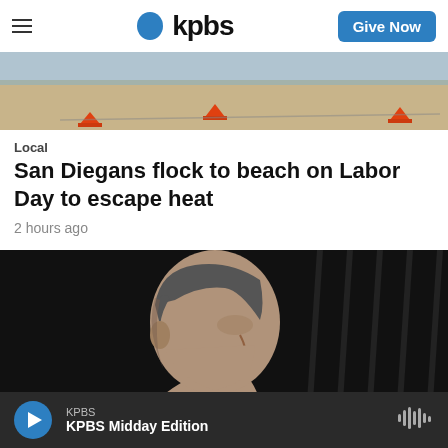KPBS — Give Now
[Figure (photo): Beach scene with orange traffic cones on sandy shore near waterline]
Local
San Diegans flock to beach on Labor Day to escape heat
2 hours ago
[Figure (photo): Close-up side profile of a gray-haired man (Governor Gavin Newsom) against dark background]
KPBS — KPBS Midday Edition